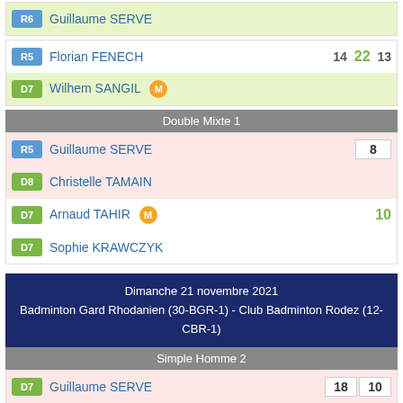| Badge | Player | Scores |
| --- | --- | --- |
| R6 | Guillaume SERVE |  |
| R5 | Florian FENECH | 14 22 13 |
| D7 | Wilhem SANGIL (M) |  |
Double Mixte 1
| Badge | Player | Score |
| --- | --- | --- |
| R5 | Guillaume SERVE | 8 |
| D8 | Christelle TAMAIN |  |
| D7 | Arnaud TAHIR (M) | 10 |
| D7 | Sophie KRAWCZYK |  |
Dimanche 21 novembre 2021
Badminton Gard Rhodanien (30-BGR-1) - Club Badminton Rodez (12-CBR-1)
Simple Homme 2
| Badge | Player | Scores |
| --- | --- | --- |
| D7 | Guillaume SERVE | 18 10 |
| D7 | Emmanuel NOUVIALE | 21 21 |
Double Hommes 1